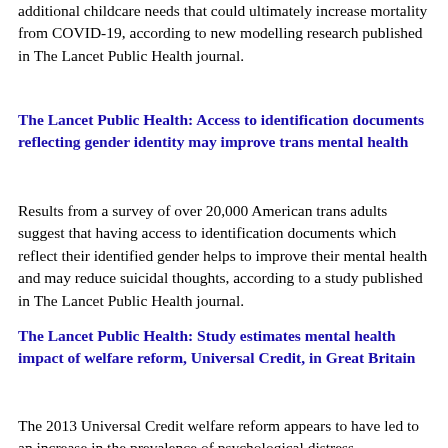additional childcare needs that could ultimately increase mortality from COVID-19, according to new modelling research published in The Lancet Public Health journal.
The Lancet Public Health: Access to identification documents reflecting gender identity may improve trans mental health
Results from a survey of over 20,000 American trans adults suggest that having access to identification documents which reflect their identified gender helps to improve their mental health and may reduce suicidal thoughts, according to a study published in The Lancet Public Health journal.
The Lancet Public Health: Study estimates mental health impact of welfare reform, Universal Credit, in Great Britain
The 2013 Universal Credit welfare reform appears to have led to an increase in the prevalence of psychological distress